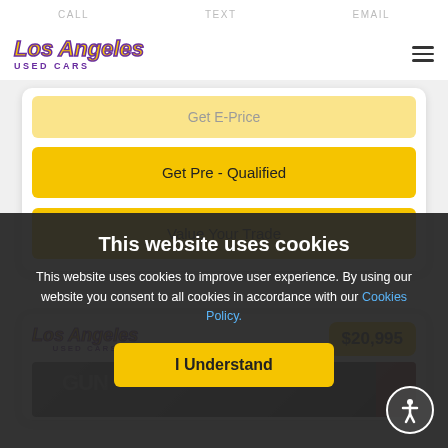CALL  TEXT  EMAIL
[Figure (logo): Los Angeles Used Cars logo with yellow italic text and purple outline]
Get E-Price
Get Pre - Qualified
Value Your Trade
[Figure (logo): Los Angeles Used Cars logo second instance]
$20,995
[Figure (photo): Partial view of a car in the second listing card]
This website uses cookies
This website uses cookies to improve user experience. By using our website you consent to all cookies in accordance with our Cookies Policy.
I Understand